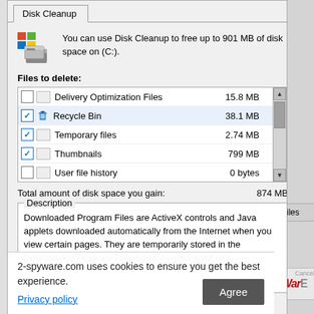[Figure (screenshot): Windows Disk Cleanup dialog showing a list of file types to delete with their sizes, a description panel, and a cookie consent overlay from 2-spyware.com]
You can use Disk Cleanup to free up to 901 MB of disk space on (C:).
Files to delete:
| Checked | Icon | Name | Size |
| --- | --- | --- | --- |
|  |  | Delivery Optimization Files | 15.8 MB |
| ✓ | recycle | Recycle Bin | 38.1 MB |
| ✓ |  | Temporary files | 2.74 MB |
| ✓ |  | Thumbnails | 799 MB |
|  |  | User file history | 0 bytes |
Total amount of disk space you gain:    874 MB
Description
Downloaded Program Files are ActiveX controls and Java applets downloaded automatically from the Internet when you view certain pages. They are temporarily stored in the Downloaded Program Files folder on your hard disk.
2-spyware.com uses cookies to ensure you get the best experience.
Privacy policy
Agree